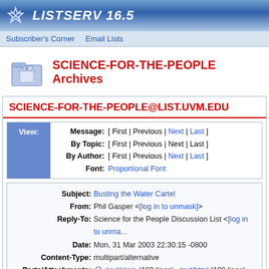LISTSERV 16.5
Subscriber's Corner  Email Lists
SCIENCE-FOR-THE-PEOPLE Archives
SCIENCE-FOR-THE-PEOPLE@LIST.UVM.EDU
View: Message: [ First | Previous | Next | Last ] By Topic: [ First | Previous | Next | Last ] By Author: [ First | Previous | Next | Last ] Font: Proportional Font
| Field | Value |
| --- | --- |
| Subject: | Busting the Water Cartel |
| From: | Phil Gasper <[log in to unmask]> |
| Reply-To: | Science for the People Discussion List <[log in to unma...]> |
| Date: | Mon, 31 Mar 2003 22:30:15 -0800 |
| Content-Type: | multipart/alternative |
| Parts/Attachments: | text/plain (169 lines) , text/html (180 lines) |
Busting the Water Cartel